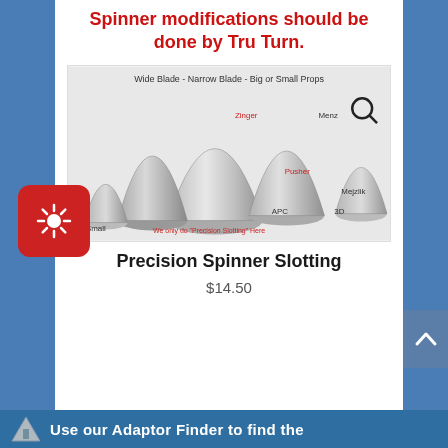Spinner modifications should be done by Tru Turn.
[Figure (photo): Multiple silver aluminum spinner cones of various sizes labeled: Wide Blade - Narrow Blade - Big or Small Props, Zinger, Menz, Pusher, Mejzlik, APC, 3D, Small. Text reads: We only do 'Precision Slotting' Here]
Precision Spinner Slotting
$14.50
Use our Adaptor Finder to find the